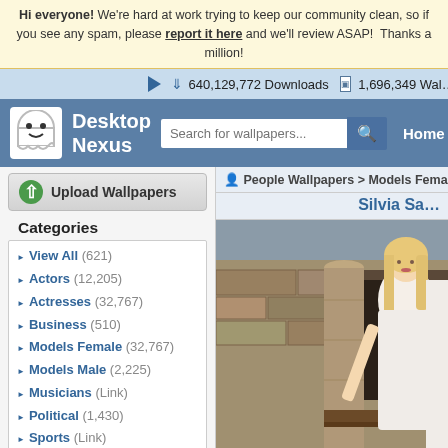Hi everyone! We're hard at work trying to keep our community clean, so if you see any spam, please report it here and we'll review ASAP! Thanks a million!
640,129,772 Downloads   1,696,349 Wal…
[Figure (logo): Desktop Nexus logo with ghost mascot, search bar, and Home navigation]
[Figure (illustration): Upload Wallpapers button with green circle and up arrow]
People Wallpapers > Models Female >
Categories
View All (621)
Actors (12,205)
Actresses (32,767)
Business (510)
Models Female (32,767)
Models Male (2,225)
Musicians (Link)
Political (1,430)
Sports (Link)
Other (32,767)
Downloads: 640,129,772
People Walls: 247,386
All Wallpapers: 1,696,349
Tag Count: 9,948,936
Silvia Sa…
[Figure (photo): Blonde woman in white dress posing near stone column and wooden structure]